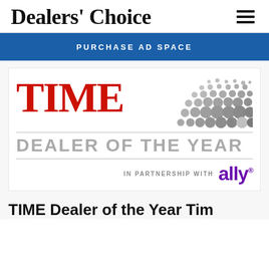Dealers' Choice
[Figure (logo): TIME Dealer of the Year in partnership with Ally logo]
TIME Dealer of the Year Tim